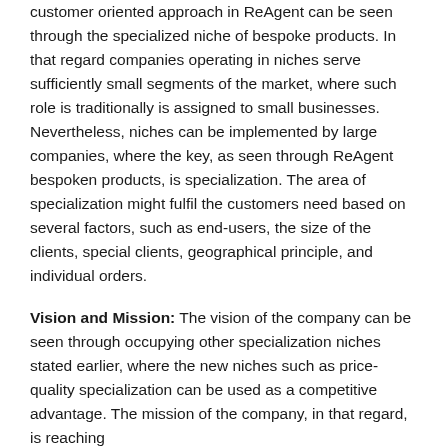customer oriented approach in ReAgent can be seen through the specialized niche of bespoke products. In that regard companies operating in niches serve sufficiently small segments of the market, where such role is traditionally is assigned to small businesses. Nevertheless, niches can be implemented by large companies, where the key, as seen through ReAgent bespoken products, is specialization. The area of specialization might fulfil the customers need based on several factors, such as end-users, the size of the clients, special clients, geographical principle, and individual orders.
Vision and Mission: The vision of the company can be seen through occupying other specialization niches stated earlier, where the new niches such as price-quality specialization can be used as a competitive advantage. The mission of the company, in that regard, is reaching [Free price quote for your paper →] expansion. In that